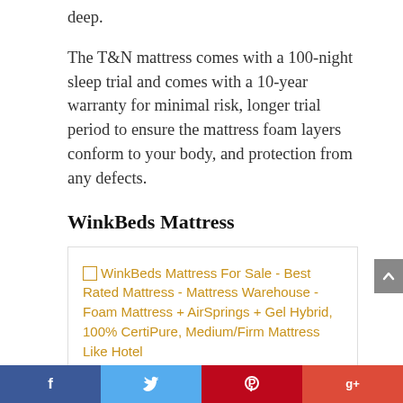deep.
The T&N mattress comes with a 100-night sleep trial and comes with a 10-year warranty for minimal risk, longer trial period to ensure the mattress foam layers conform to your body, and protection from any defects.
WinkBeds Mattress
[Figure (other): Broken image placeholder with alt text: WinkBeds Mattress For Sale - Best Rated Mattress - Mattress Warehouse - Foam Mattress + AirSprings + Gel Hybrid, 100% CertiPure, Medium/Firm Mattress Like Hotel...]
Social share bar with Facebook, Twitter, Pinterest, Google+ buttons